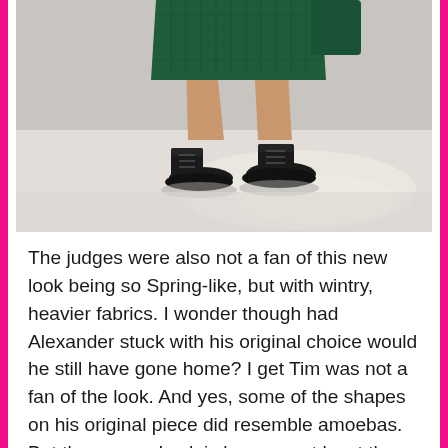[Figure (photo): Fashion runway photo showing a model from the waist down wearing a dark teal/green textured knit dress or shorts, with black Oxford-style lace-up shoes, walking on a white runway.]
The judges were also not a fan of this new look being so Spring-like, but with wintry, heavier fabrics. I wonder though had Alexander stuck with his original choice would he still have gone home? I get Tim was not a fan of the look. And yes, some of the shapes on his original piece did resemble amoebas. But the reason I ask is because at least there was something to his original piece; it might not have come off as so